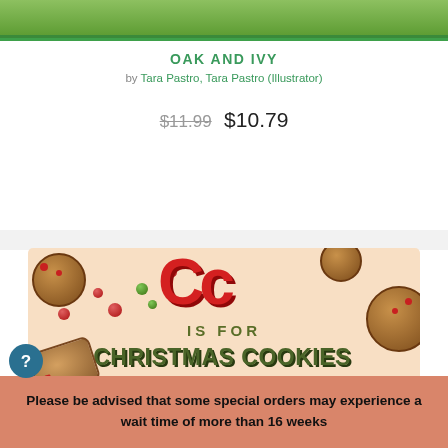[Figure (illustration): Green nature/foliage book cover strip at top]
OAK AND IVY
by Tara Pastro, Tara Pastro (Illustrator)
$11.99  $10.79
[Figure (illustration): C is for Christmas Cookies book cover showing gingerbread cookies, red berries, large red letter Cc, and green text]
Please be advised that some special orders may experience a wait time of more than 16 weeks